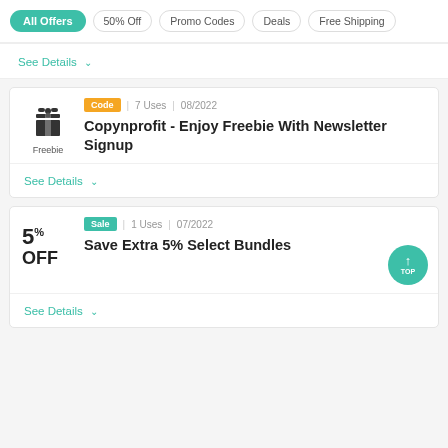All Offers | 50% Off | Promo Codes | Deals | Free Shipping
See Details
Code | 7 Uses | 08/2022
Copynprofit - Enjoy Freebie With Newsletter Signup
See Details
Sale | 1 Uses | 07/2022
Save Extra 5% Select Bundles
See Details